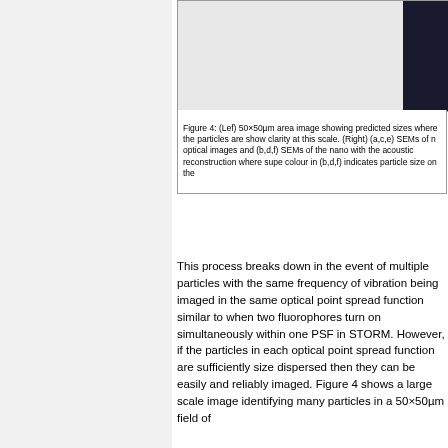[Figure (photo): Partial view of a figure showing a microscopy image on the left (light grey background) and a dark image on the right edge (SEM or optical image with dark background).]
Figure 4: (Lef) 50×50µm area image showing predicted sizes where the particles are shown for clarity at this scale. (Right) (a,c,e) SEMs of n optical images and (b,d,f) SEMs of the nano with the acoustic reconstruction where supe colour in (b,d,f) indicates particle size on the
This process breaks down in the event of multiple particles with the same frequency of vibration being imaged in the same optical point spread function similar to when two fluorophores turn on simultaneously within one PSF in STORM. However, if the particles in each optical point spread function are sufficiently size dispersed then they can be easily and reliably imaged. Figure 4 shows a large scale image identifying many particles in a 50×50µm field of